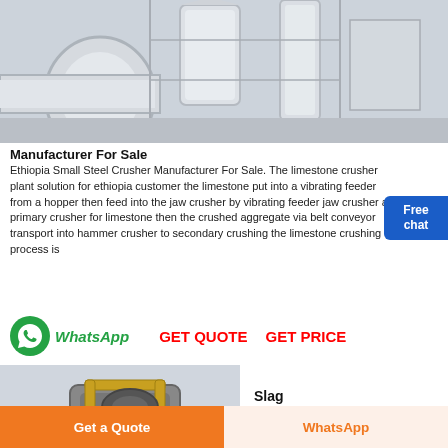[Figure (photo): Industrial limestone crusher plant machinery with white ducts, hoppers, and metal framework in a factory setting]
Manufacturer For Sale
Ethiopia Small Steel Crusher Manufacturer For Sale. The limestone crusher plant solution for ethiopia customer the limestone put into a vibrating feeder from a hopper then feed into the jaw crusher by vibrating feeder jaw crusher as primary crusher for limestone then the crushed aggregate via belt conveyor transport into hammer crusher to secondary crushing the limestone crushing process is
[Figure (infographic): WhatsApp icon (green circle with phone), WhatsApp label in green italic, GET QUOTE and GET PRICE buttons in red bold text]
[Figure (photo): Industrial slag crushing machine/equipment on a grey background]
Slag Crushing
Get a Quote
WhatsApp